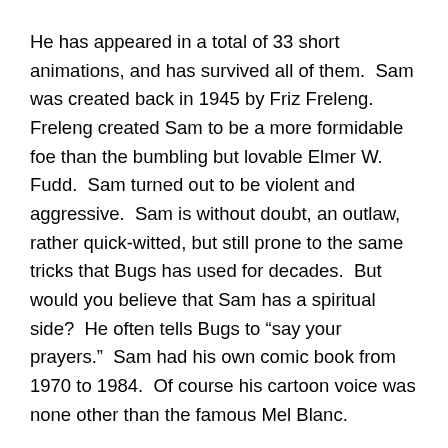He has appeared in a total of 33 short animations, and has survived all of them.  Sam was created back in 1945 by Friz Freleng.  Freleng created Sam to be a more formidable foe than the bumbling but lovable Elmer W. Fudd.  Sam turned out to be violent and aggressive.  Sam is without doubt, an outlaw, rather quick-witted, but still prone to the same tricks that Bugs has used for decades.  But would you believe that Sam has a spiritual side?  He often tells Bugs to “say your prayers.”  Sam had his own comic book from 1970 to 1984.  Of course his cartoon voice was none other than the famous Mel Blanc.
So, as we climb El Capitan or Half Dome, we will keep our eyes and ears open for Yosemite Sam.  I expect the crowds to be somewhat less than usual, though we should